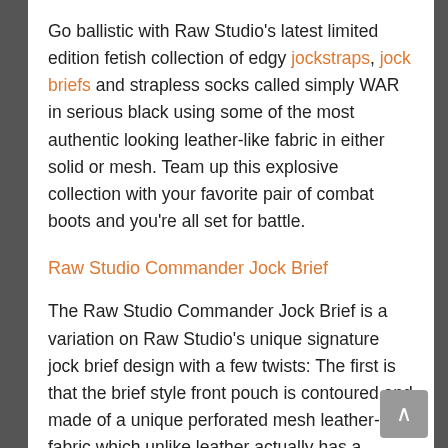Go ballistic with Raw Studio's latest limited edition fetish collection of edgy jockstraps, jock briefs and strapless socks called simply WAR in serious black using some of the most authentic looking leather-like fabric in either solid or mesh. Team up this explosive collection with your favorite pair of combat boots and you're all set for battle.
Raw Studio Commander Jock Brief
The Raw Studio Commander Jock Brief is a variation on Raw Studio's unique signature jock brief design with a few twists: The first is that the brief style front pouch is contoured and made of a unique perforated mesh leather-look fabric which unlike leather actually has a welcome four-way stretch plus it's super-soft against your skin. The holes in the mesh are wide enough to give guys a good idea of the ammunition you're packing. A one inch wide vertical stripe runs down the center. Ingeniously, the top mesh pouch wraps around a micro-